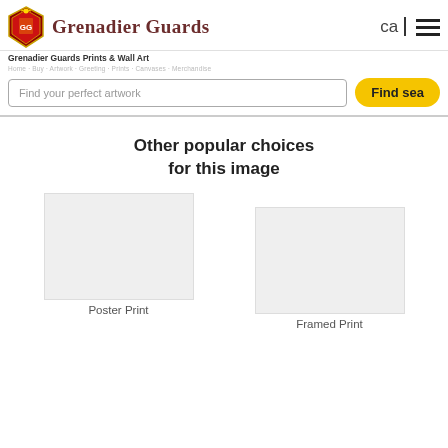Grenadier Guards
Grenadier Guards Prints & Wall Art
Find your perfect artwork
Find sea
Other popular choices for this image
Poster Print
Framed Print